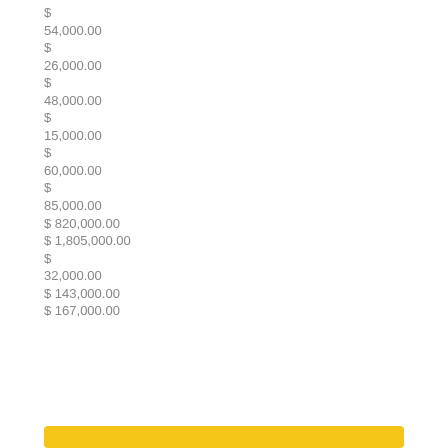$
54,000.00
$
26,000.00
$
48,000.00
$
15,000.00
$
60,000.00
$
85,000.00
$ 820,000.00
$ 1,805,000.00
$
32,000.00
$ 143,000.00
$ 167,000.00